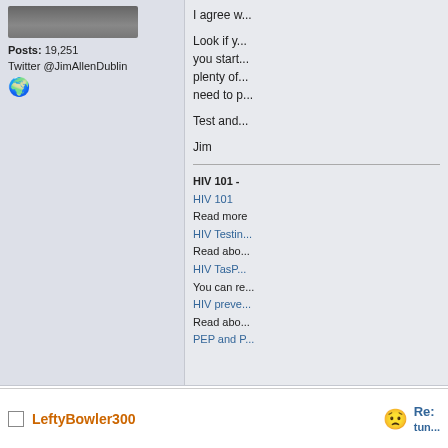[Figure (photo): Partial photo of a person at the top of the user sidebar]
Posts: 19,251
Twitter @JimAllenDublin
[Figure (illustration): Globe/world icon emoji]
I agree w...
Look if y... you start... plenty of... need to p...
Test and...
Jim
HIV 101 -
HIV 101
Read more
HIV Testin...
Read abo...
HIV TasP...
You can re...
HIV preve...
Read abo...
PEP and P...
LeftyBowler300
[Figure (illustration): Smiley/frowning face emoticon]
Re: tun...